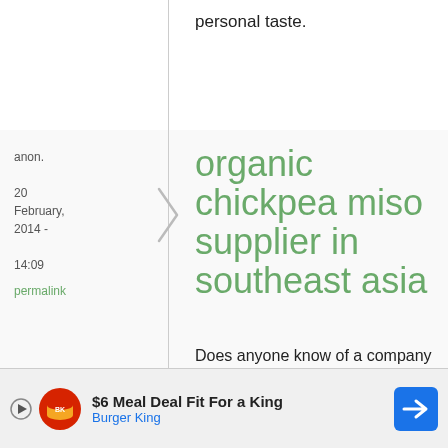personal taste.
anon.
20 February, 2014 - 14:09
permalink
organic chickpea miso supplier in southeast asia
Does anyone know of a company in Southeast
[Figure (infographic): Burger King advertisement banner: '$6 Meal Deal Fit For a King' with Burger King logo and navigation arrow icon]